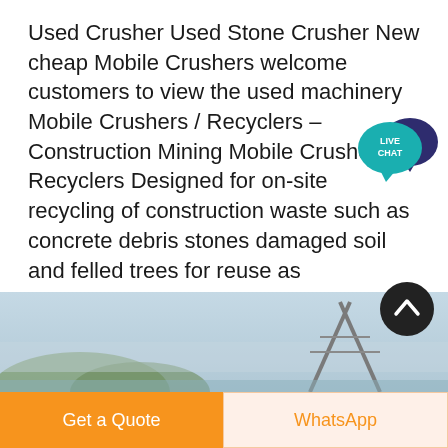Used Crusher Used Stone Crusher New cheap Mobile Crushers welcome customers to view the used machinery Mobile Crushers / Recyclers – Construction Mining Mobile Crushers / Recyclers Designed for on-site recycling of construction waste such as concrete debris stones damaged soil and felled trees for reuse as
[Figure (other): Live Chat speech bubble icon in teal/dark blue colors with text LIVE CHAT]
[Figure (other): Orange rounded rectangle button labeled Get price]
[Figure (photo): Partial photo strip showing a construction or mining site with crane equipment against a hazy sky with hills in background]
[Figure (other): Black circular scroll-up button with white chevron/caret pointing upward]
Get a Quote
WhatsApp